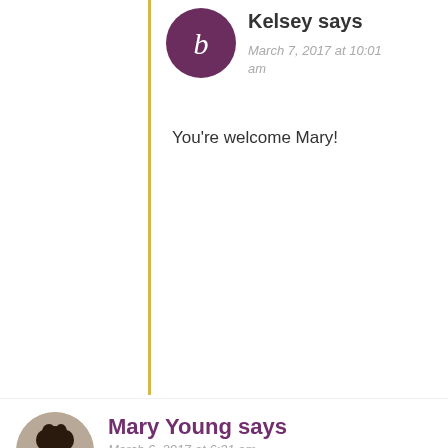Kelsey says
March 7, 2017 at 10:01 am
You're welcome Mary!
[Figure (photo): Avatar of Mary Young - a woman with curly dark hair]
Mary Young says
March 6, 2017 at 6:21 am
Gorgeous soap! as always,

I just have a question here why so high % of coconut soap won't it be too drying? is a salt soap good for dry skin? what oils can i substitute for Olive & avocado? sorry too many questions 😛